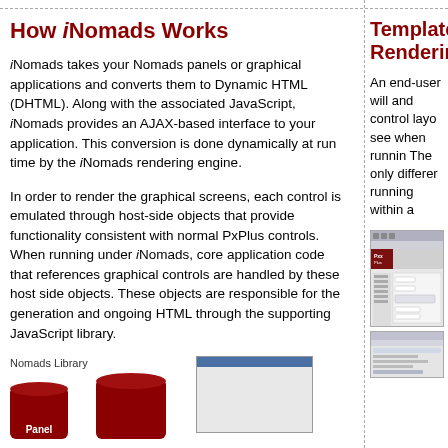How iNomads Works
iNomads takes your Nomads panels or graphical applications and converts them to Dynamic HTML (DHTML). Along with the associated JavaScript, iNomads provides an AJAX-based interface to your application. This conversion is done dynamically at run time by the iNomads rendering engine.
In order to render the graphical screens, each control is emulated through host-side objects that provide functionality consistent with normal PxPlus controls. When running under iNomads, core application code that references graphical controls are handled by these host side objects. These objects are responsible for the generation and ongoing HTML through the supporting JavaScript library.
[Figure (illustration): Nomads Library diagram showing red cylinders labeled Panel and another cylinder, plus a screenshot window]
Templates Rendering
An end-user will and control layo see when runnin The only differer running within a
[Figure (screenshot): Screenshot of PxPlus application interface showing a form with fields]
[Figure (screenshot): Screenshot of another PxPlus application window]